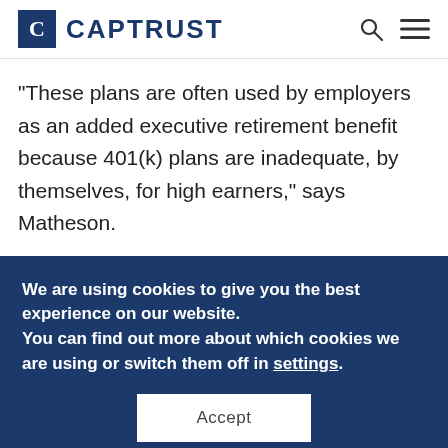CAPTRUST
“These plans are often used by employers as an added executive retirement benefit because 401(k) plans are inadequate, by themselves, for high earners,” says Matheson.
We are using cookies to give you the best experience on our website. You can find out more about which cookies we are using or switch them off in settings.
Accept